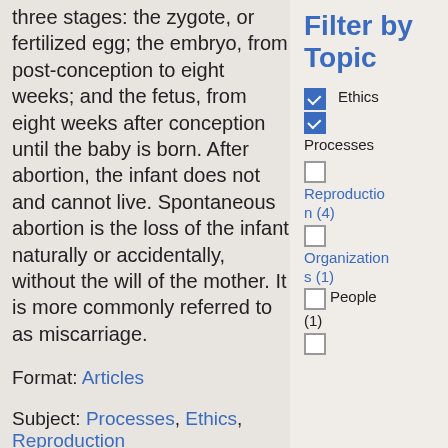three stages: the zygote, or fertilized egg; the embryo, from post-conception to eight weeks; and the fetus, from eight weeks after conception until the baby is born. After abortion, the infant does not and cannot live. Spontaneous abortion is the loss of the infant naturally or accidentally, without the will of the mother. It is more commonly referred to as miscarriage.
Format: Articles
Subject: Processes, Ethics, Reproduction
Filter by Topic
Ethics (checked)
(checked)
Processes
Reproduction (4)
Organizations (1)
People (1)